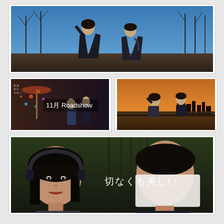[Figure (photo): Two young people (a woman and a man) standing outdoors under a clear blue sky, surrounded by bare winter trees. The woman is on the left with her arm raised, wearing a dark jacket. The man is on the right in a dark coat.]
[Figure (photo): Movie promotional still showing two people near a carousel/amusement park setting. Text overlay reads '11月 Roadshow' (November Roadshow) in white text.]
[Figure (photo): Two people outdoors near a body of water at golden hour/sunset, with a cityscape visible in the background.]
[Figure (photo): Close-up of two people: a young woman on the left wearing headphones, and a young man on the right whose face is partially obscured by a white mask/paper. Text overlay reads '切なくも美しい' (Bittersweet beauty) in white Japanese text.]